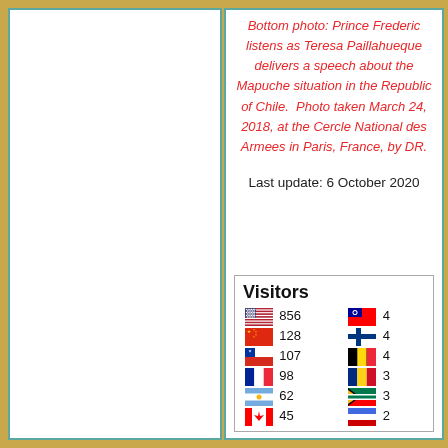Bottom photo: Prince Frederic listens as Teresa Paillahueque delivers a speech about the Mapuche situation in the Republic of Chile.  Photo taken March 24, 2018, at the Cercle National des Armees in Paris, France, by DR.
Last update: 6 October 2020
[Figure (infographic): Visitors widget showing country flags and visitor counts: USA 856, China 128, Chile 107, France 98, Argentina 62, Canada 45, Taiwan 4, Finland 4, Belgium 4, Romania 3, South Africa 3, unknown 2]